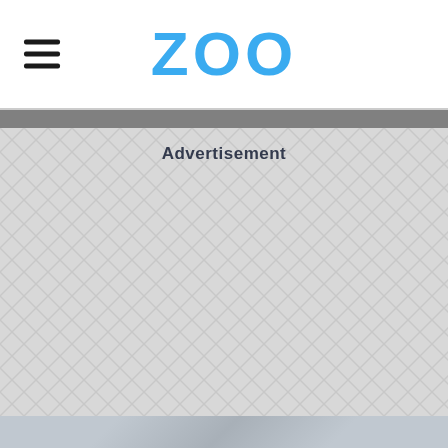ZOO
Advertisement
[Figure (other): Gray advertisement placeholder area with chevron/herringbone geometric pattern background]